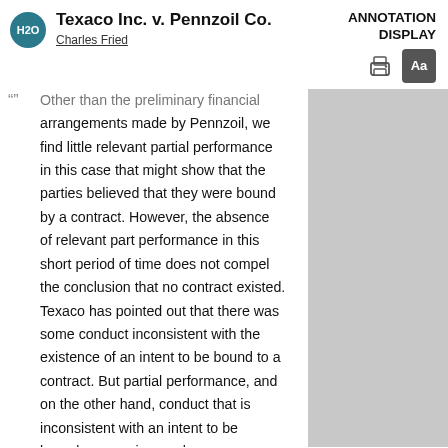Texaco Inc. v. Pennzoil Co.
Charles Fried
ANNOTATION DISPLAY
Other than the preliminary financial arrangements made by Pennzoil, we find little relevant partial performance in this case that might show that the parties believed that they were bound by a contract. However, the absence of relevant part performance in this short period of time does not compel the conclusion that no contract existed. Texaco has pointed out that there was some conduct inconsistent with the existence of an intent to be bound to a contract. But partial performance, and on the other hand, conduct that is inconsistent with an intent to be bound, are again merely